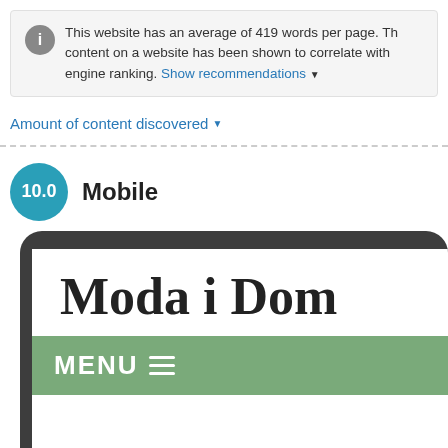This website has an average of 419 words per page. The content on a website has been shown to correlate with engine ranking. Show recommendations ▼
Amount of content discovered ▼
10.0  Mobile
[Figure (screenshot): Mobile device preview showing a website titled 'Moda i Dom' with a green MENU bar with hamburger icon]